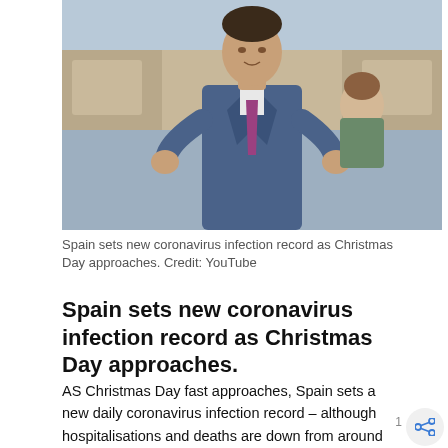[Figure (photo): A man in a blue suit with a purple tie gesturing with his hands, appearing to speak in a formal chamber setting, with a woman visible behind him.]
Spain sets new coronavirus infection record as Christmas Day approaches. Credit: YouTube
Spain sets new coronavirus infection record as Christmas Day approaches.
AS Christmas Day fast approaches, Spain sets a new daily coronavirus infection record – although hospitalisations and deaths are down from around this time last year.
The nearly 73,000 new cases recorded on Thursday, December 23...